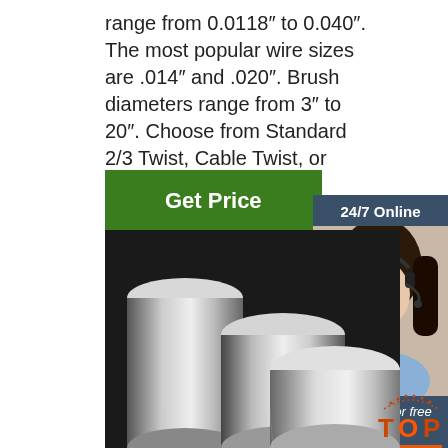range from 0.0118" to 0.040". The most popular wire sizes are .014" and .020". Brush diameters range from 3" to 20". Choose from Standard 2/3 Twist, Cable Twist, or Stringer …
[Figure (screenshot): Green 'Get Price' button]
[Figure (screenshot): Chat widget with '24/7 Online' header, photo of woman with headset, 'Click here for free chat!' text, and orange QUOTATION button]
[Figure (photo): Photo of polished stainless steel round rods/bars arranged diagonally on dark background]
[Figure (logo): TOP badge/logo in bottom right corner with dotted arc design]